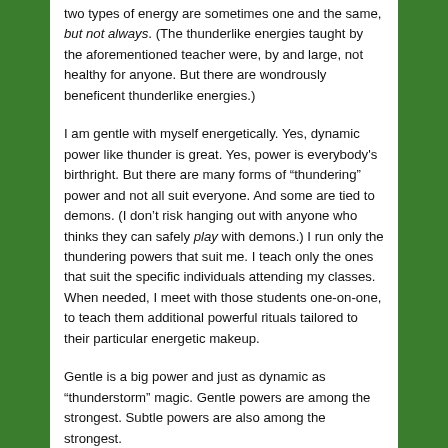two types of energy are sometimes one and the same, but not always. (The thunderlike energies taught by the aforementioned teacher were, by and large, not healthy for anyone. But there are wondrously beneficent thunderlike energies.)
I am gentle with myself energetically. Yes, dynamic power like thunder is great. Yes, power is everybody's birthright. But there are many forms of “thundering” power and not all suit everyone. And some are tied to demons. (I don’t risk hanging out with anyone who thinks they can safely play with demons.) I run only the thundering powers that suit me. I teach only the ones that suit the specific individuals attending my classes. When needed, I meet with those students one-on-one, to teach them additional powerful rituals tailored to their particular energetic makeup.
Gentle is a big power and just as dynamic as “thunderstorm” magic. Gentle powers are among the strongest. Subtle powers are also among the strongest.